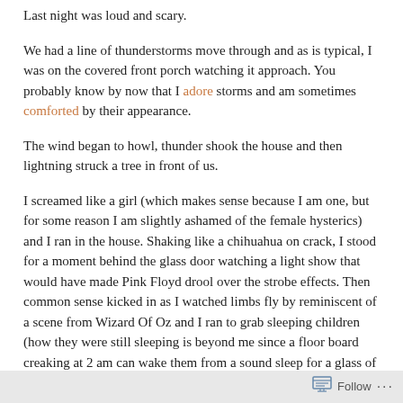Last night was loud and scary.
We had a line of thunderstorms move through and as is typical, I was on the covered front porch watching it approach. You probably know by now that I adore storms and am sometimes comforted by their appearance.
The wind began to howl, thunder shook the house and then lightning struck a tree in front of us.
I screamed like a girl (which makes sense because I am one, but for some reason I am slightly ashamed of the female hysterics) and I ran in the house. Shaking like a chihuahua on crack, I stood for a moment behind the glass door watching a light show that would have made Pink Floyd drool over the strobe effects. Then common sense kicked in as I watched limbs fly by reminiscent of a scene from Wizard Of Oz and I ran to grab sleeping children (how they were still sleeping is beyond me since a floor board creaking at 2 am can wake them from a sound sleep for a glass of water)
Follow ...